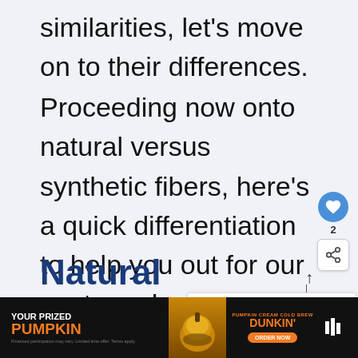similarities, let's move on to their differences.
Proceeding now onto natural versus synthetic fibers, here's a quick differentiation to help you out for our next purchase:
Natural
[Figure (other): Like/heart button (blue circle with heart icon), share count '2', share icon button, and upward arrow UI element]
[Figure (other): What's Next panel showing 'Best Oil for Outdoor Wo...' with thumbnail image]
[Figure (other): Advertisement banner: 'YOUR PRIZED PUMPKIN' with Dunkin' Pumpkin Cream Cold Brew promotion and 'ORDER NOW' button]